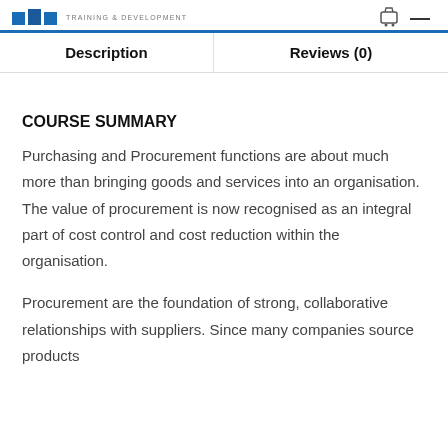TRAINING & DEVELOPMENT
| Description | Reviews (0) |
| --- | --- |
COURSE SUMMARY
Purchasing and Procurement functions are about much more than bringing goods and services into an organisation. The value of procurement is now recognised as an integral part of cost control and cost reduction within the organisation.
Procurement are the foundation of strong, collaborative relationships with suppliers. Since many companies source products